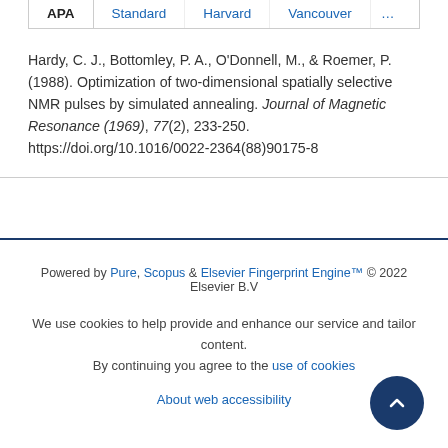APA | Standard | Harvard | Vancouver | ...
Hardy, C. J., Bottomley, P. A., O'Donnell, M., & Roemer, P. (1988). Optimization of two-dimensional spatially selective NMR pulses by simulated annealing. Journal of Magnetic Resonance (1969), 77(2), 233-250. https://doi.org/10.1016/0022-2364(88)90175-8
Powered by Pure, Scopus & Elsevier Fingerprint Engine™ © 2022 Elsevier B.V
We use cookies to help provide and enhance our service and tailor content. By continuing you agree to the use of cookies
About web accessibility